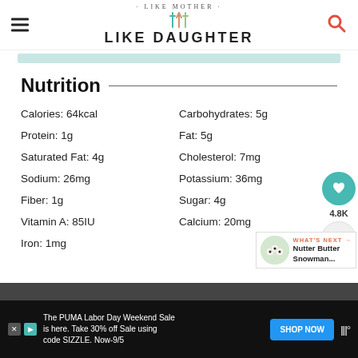LIKE MOTHER LIKE DAUGHTER
Nutrition
Calories: 64kcal | Carbohydrates: 5g | Protein: 1g | Fat: 5g | Saturated Fat: 4g | Cholesterol: 7mg | Sodium: 26mg | Potassium: 36mg | Fiber: 1g | Sugar: 4g | Vitamin A: 85IU | Calcium: 20mg | Iron: 1mg
WHAT'S NEXT → Nutter Butter Snowman...
The PUMA Labor Day Weekend Sale is here. Take 30% off Sale using code SIZZLE. Now-9/5
SHOP NOW